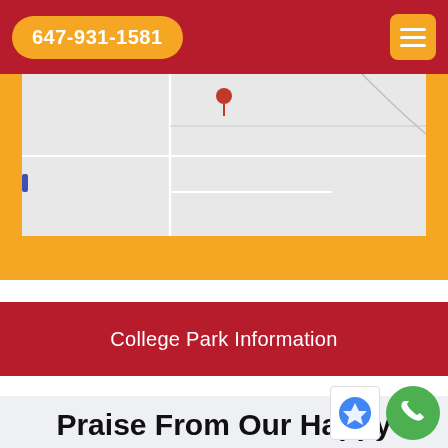647-931-1581
[Figure (map): Partial Google Maps view showing road/block layout in College Park area, displayed on a yellow background section]
College Park Information
Praise From Our Happy Clients About Our Freezer Installation in...